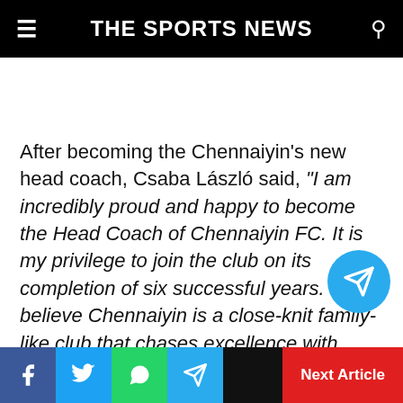THE SPORTS NEWS
After becoming the Chennaiyin's new head coach, Csaba László said, “I am incredibly proud and happy to become the Head Coach of Chennaiyin FC. It is my privilege to join the club on its completion of six successful years. I believe Chennaiyin is a close-knit family-like club that chases excellence with abso… passionate fans by its side at all times. And I'm
Facebook | Twitter | WhatsApp | Telegram | Next Article